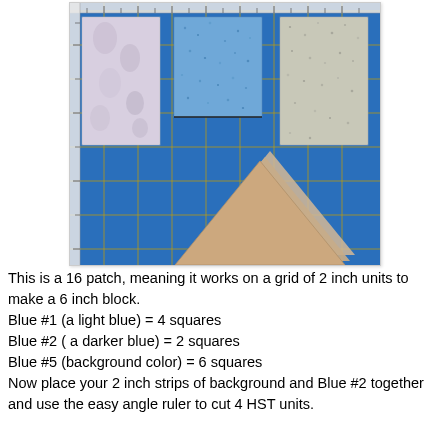[Figure (photo): Photo of fabric swatches on a blue quilting cutting mat with a ruler. Three rectangles of fabric are shown at the top: a light floral/pastel fabric on the left, a medium blue speckled fabric in the center, and a gray/white speckled fabric on the right. In the lower center are several tan/beige triangular fabric pieces stacked together.]
This is a 16 patch, meaning it works on a grid of 2 inch units to make a 6 inch block.
Blue #1 (a light blue) = 4 squares
Blue #2 ( a darker blue) = 2 squares
Blue #5 (background color) = 6 squares
Now place your 2 inch strips of background and Blue #2 together and use the easy angle ruler to cut 4 HST units.